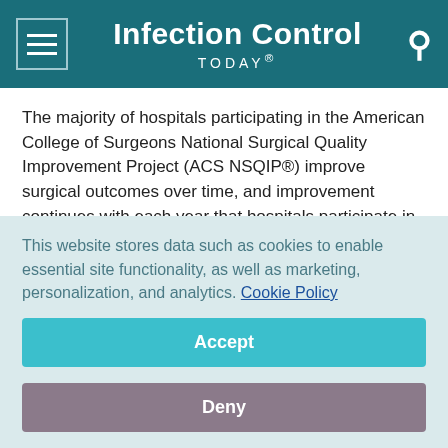Infection Control TODAY®
The majority of hospitals participating in the American College of Surgeons National Surgical Quality Improvement Project (ACS NSQIP®) improve surgical outcomes over time, and improvement continues with each year that hospitals participate in the program, according to a new study published online today in Annals of Surgery.
ACS NSQIP is a nationally validated, risk-adjusted, outcomes-
This website stores data such as cookies to enable essential site functionality, as well as marketing, personalization, and analytics. Cookie Policy
Accept
Deny